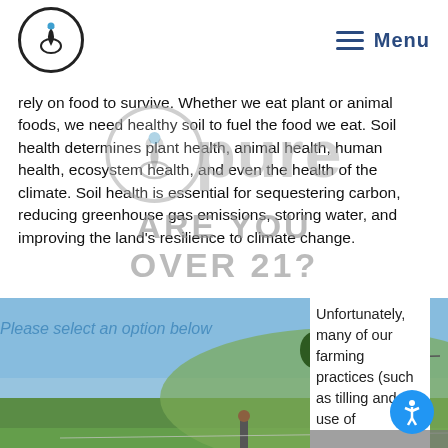Menu
rely on food to survive. Whether we eat plant or animal foods, we need healthy soil to fuel the food we eat. Soil health determines plant health, animal health, human health, ecosystem health, and even the health of the climate. Soil health is essential for sequestering carbon, reducing greenhouse gas emissions, storing water, and improving the land's resilience to climate change.
[Figure (screenshot): Age gate overlay with @pure logo watermark and 'ARE YOU OVER 21?' text with 'Please select an option below' prompt, no and yes options shown over farm/field photograph]
Unfortunately, many of our farming practices (such as tilling and the use of